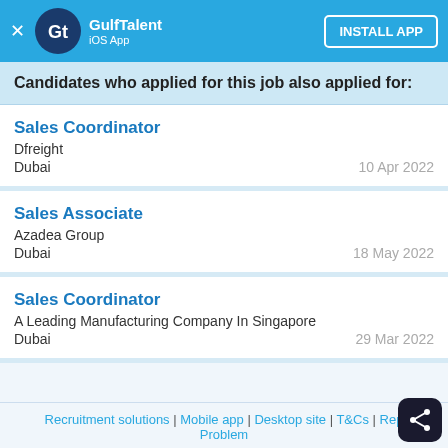GulfTalent iOS App — INSTALL APP
Candidates who applied for this job also applied for:
Sales Coordinator
Dfreight
Dubai
10 Apr 2022
Sales Associate
Azadea Group
Dubai
18 May 2022
Sales Coordinator
A Leading Manufacturing Company In Singapore
Dubai
29 Mar 2022
Recruitment solutions | Mobile app | Desktop site | T&Cs | Report a Problem